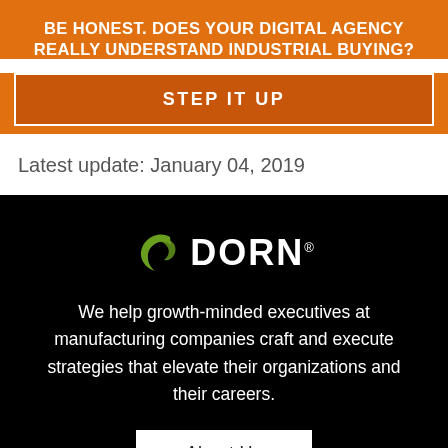BE HONEST. DOES YOUR DIGITAL AGENCY REALLY UNDERSTAND INDUSTRIAL BUYING?
STEP IT UP
Latest update: January 04, 2019
[Figure (logo): DORN company logo with green swoosh/arrow icon and white DORN text on black background]
We help growth-minded executives at manufacturing companies craft and execute strategies that elevate their organizations and their careers.
About Us